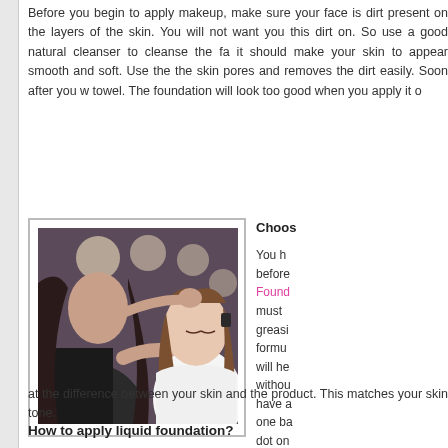Before you begin to apply makeup, make sure your face is dirt present on the layers of the skin. You will not want yo this dirt on. So use a good natural cleanser to cleanse the f it should make your skin to appear smooth and soft. Use the the skin pores and removes the dirt easily. Soon after you w towel. The foundation will look too good when you apply it o
[Figure (photo): A makeup artist applying foundation to a young woman's face using a sponge, both in a studio setting with lights in background.]
Choos
You h before Foun must greasi formu will he witho have a one ba dot on
at the difference between your skin and the product. This matches your skin tone.
How to apply liquid foundation?